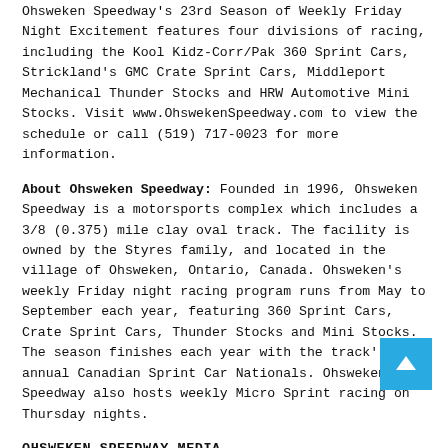Ohsweken Speedway's 23rd Season of Weekly Friday Night Excitement features four divisions of racing, including the Kool Kidz-Corr/Pak 360 Sprint Cars, Strickland's GMC Crate Sprint Cars, Middleport Mechanical Thunder Stocks and HRW Automotive Mini Stocks. Visit www.OhswekenSpeedway.com to view the schedule or call (519) 717-0023 for more information.
About Ohsweken Speedway: Founded in 1996, Ohsweken Speedway is a motorsports complex which includes a 3/8 (0.375) mile clay oval track. The facility is owned by the Styres family, and located in the village of Ohsweken, Ontario, Canada. Ohsweken's weekly Friday night racing program runs from May to September each year, featuring 360 Sprint Cars, Crate Sprint Cars, Thunder Stocks and Mini Stocks. The season finishes each year with the track' annual Canadian Sprint Car Nationals. Ohsweken Speedway also hosts weekly Micro Sprint racing on Thursday nights.
OHSWEKEN SPEEDWAY MEDIA
Phone: (519) 717-0023